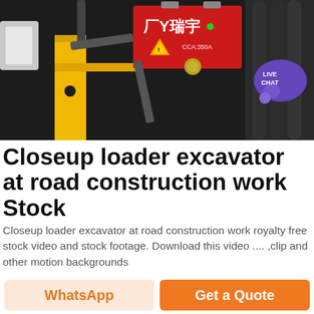[Figure (photo): Closeup photo of loader excavator engine bay showing a red battery (branded with Chinese characters), yellow metal bracket/frame, dark hoses and clamps, with a purple 'Live Chat' bubble overlay in the top right corner.]
Closeup loader excavator at road construction work Stock
Closeup loader excavator at road construction work royalty free stock video and stock footage. Download this video .... ,clip and other motion backgrounds
« Send message
[Figure (photo): Partial bottom strip showing blue sky and dark equipment silhouette.]